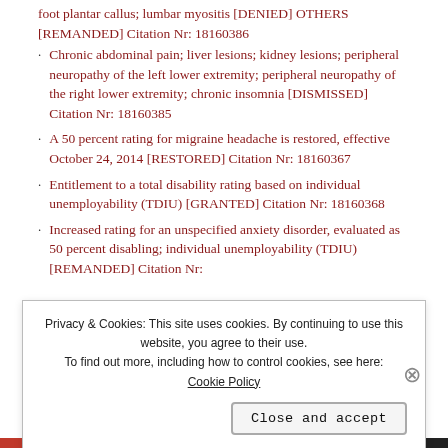foot plantar callus; lumbar myositis [DENIED] OTHERS [REMANDED] Citation Nr: 18160386
Chronic abdominal pain; liver lesions; kidney lesions; peripheral neuropathy of the left lower extremity; peripheral neuropathy of the right lower extremity; chronic insomnia [DISMISSED] Citation Nr: 18160385
A 50 percent rating for migraine headache is restored, effective October 24, 2014 [RESTORED] Citation Nr: 18160367
Entitlement to a total disability rating based on individual unemployability (TDIU) [GRANTED] Citation Nr: 18160368
Increased rating for an unspecified anxiety disorder, evaluated as 50 percent disabling; individual unemployability (TDIU) [REMANDED] Citation Nr:
Privacy & Cookies: This site uses cookies. By continuing to use this website, you agree to their use. To find out more, including how to control cookies, see here: Cookie Policy
Close and accept